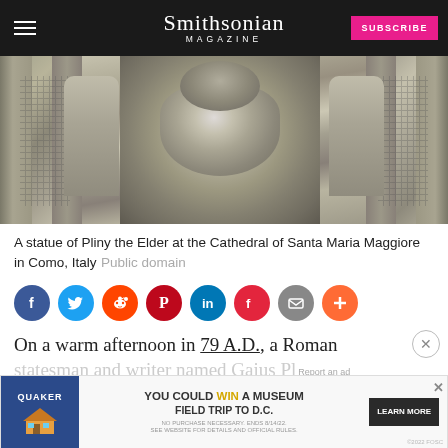Smithsonian MAGAZINE
[Figure (photo): Close-up photograph of carved stone statues/reliefs on the facade of the Cathedral of Santa Maria Maggiore in Como, Italy, showing detailed sculptural work in gray stone.]
A statue of Pliny the Elder at the Cathedral of Santa Maria Maggiore in Como, Italy Public domain
[Figure (other): Social sharing icons row: Facebook (blue), Twitter (blue), Reddit (orange-red), Pinterest (red), LinkedIn (blue), Flipboard (red), Email (gray), Plus/More (orange)]
On a warm afternoon in 79 A.D., a Roman statesman and writer named Gaius Pl... Secu... As his fellow Romans fled the eruption—the